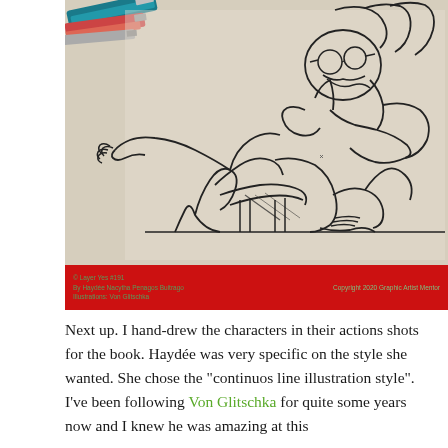[Figure (photo): A photograph of a continuous line illustration hand-drawn on paper showing a character in an action pose (riding or lunging), with colored markers/pencils visible in the top left corner. Below the photo is a red bar with green text credits.]
© Layer Yes #191 / By Haydée Nacytha Penagos Buitrago / Illustrations: Von Glitschka / Copyright 2020 Graphic Artist Mentor
Next up. I hand-drew the characters in their actions shots for the book. Haydée was very specific on the style she wanted. She chose the "continuos line illustration style". I've been following Von Glitschka for quite some years now and I knew he was amazing at this